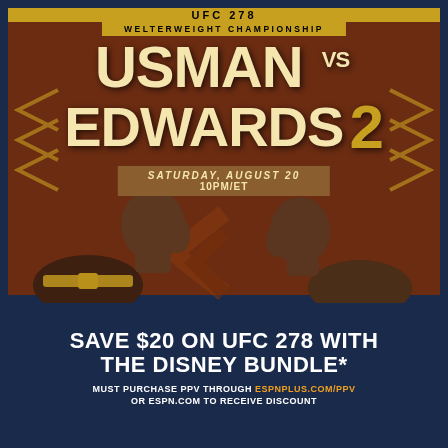[Figure (illustration): UFC 278 promotional poster featuring Kamaru Usman vs Leon Edwards 2 Welterweight Championship. Two fighters facing each other in a staredown against a dark brown background with gold chevron decorations. Fighter on left wears a championship belt. Text overlay reads WELTERWEIGHT CHAMPIONSHIP, USMAN VS EDWARDS 2, SATURDAY AUGUST 20, 10PM/ET.]
SAVE $20 ON UFC 278 WITH THE DISNEY BUNDLE*
MUST PURCHASE PPV THROUGH ESPNPLUS.COM/PPV OR ESPN.COM TO RECEIVE DISCOUNT